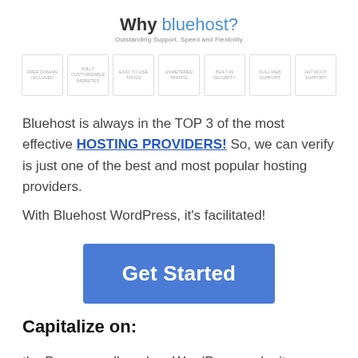Why bluehost? Outstanding Support, Speed and Flexibility
[Figure (infographic): Row of 7 small icon boxes representing hosting features: Free domain, Fully Customizable Websites, Easy to Use Tools, Unmetered Traffic, Built-in Security, Full Web Support, 24/7 Root Support]
Bluehost is always in the TOP 3 of the most effective HOSTING PROVIDERS! So, we can verify is just one of the best and most popular hosting providers.
With Bluehost WordPress, it's facilitated!
[Figure (other): Blue 'Get Started' button]
Capitalize on:
the Drag as well as drop WordPress web site contractor